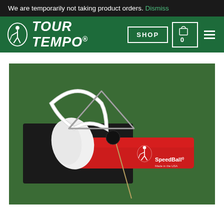We are temporarily not taking product orders. Dismiss
[Figure (logo): Tour Tempo logo with golfer silhouette icon and italic white text 'TOUR TEMPO®' on dark green navigation bar, with SHOP button, cart icon showing 0, and hamburger menu]
[Figure (photo): Golf training aid product photo: SpeedBall training device laid out on green artificial turf, showing a black mat, red fabric bag with white SpeedBall® logo and golfer graphic, a dark ball on a thin rod, a white curved arc/hoop, a metal triangle frame, and a white fabric piece]